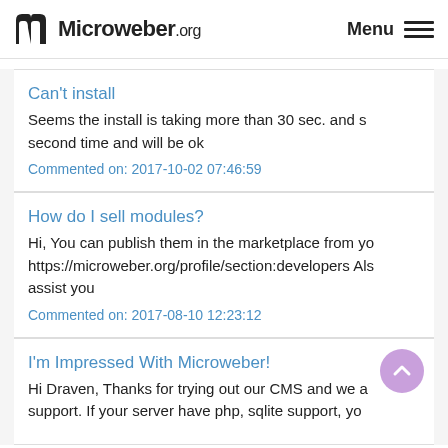Microweber.org  Menu
Can't install
Seems the install is taking more than 30 sec. and so second time and will be ok
Commented on: 2017-10-02 07:46:59
How do I sell modules?
Hi, You can publish them in the marketplace from yo https://microweber.org/profile/section:developers Als assist you
Commented on: 2017-08-10 12:23:12
I'm Impressed With Microweber!
Hi Draven, Thanks for trying out our CMS and we a support. If your server have php, sqlite support, you